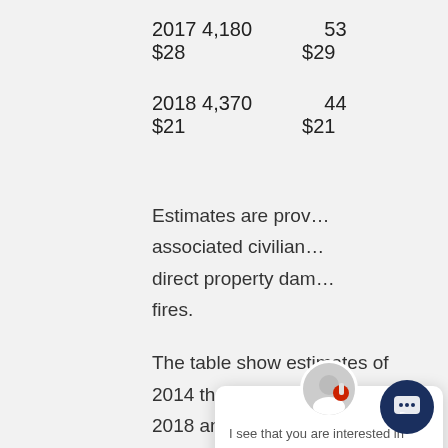2017 4,180    53
$28    $29
2018 4,370    44
$21    $21
Estimates are provided with associated civilian [data] direct property da[mage and] fires.
The table show estimates of 2014 through 2018 annual averages. Estimates were